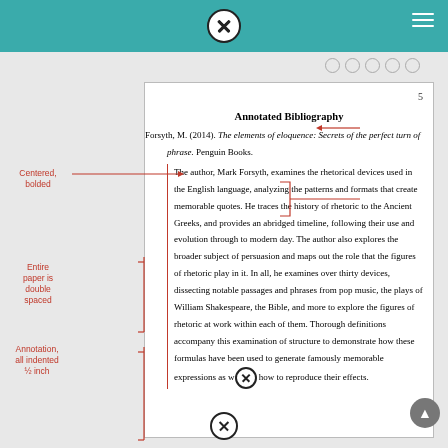Annotated Bibliography example page with navigation header
Annotated Bibliography
Forsyth, M. (2014). The elements of eloquence: Secrets of the perfect turn of phrase. Penguin Books.
The author, Mark Forsyth, examines the rhetorical devices used in the English language, analyzing the patterns and formats that create memorable quotes. He traces the history of rhetoric to the Ancient Greeks, and provides an abridged timeline, following their use and evolution through to modern day. The author also explores the broader subject of persuasion and maps out the role that the figures of rhetoric play in it. In all, he examines over thirty devices, dissecting notable passages and phrases from pop music, the plays of William Shakespeare, the Bible, and more to explore the figures of rhetoric at work within each of them. Thorough definitions accompany this examination of structure to demonstrate how these formulas have been used to generate famously memorable expressions as well as how to reproduce their effects.
Centered, bolded
Page #
Citation
Entire paper is double spaced
Annotation, all indented ½ inch